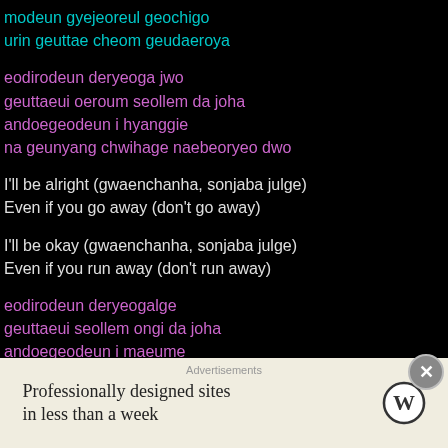modeun gyejeoreul geochigo
urin geuttae cheom geudaeroya
eodirodeun deryeoga jwo
geuttaeui oeroum seollem da joha
andoegeodeun i hyanggie
na geunyang chwihage naebeoryeo dwo
I'll be alright (gwaenchanha, sonjaba julge)
Even if you go away (don't go away)
I'll be okay (gwaenchanha, sonjaba julge)
Even if you run away (don't run away)
eodirodeun deryeogalge
geuttaeui seollem ongi da joha
andoegeodeun i maeume
Advertisements
Professionally designed sites in less than a week